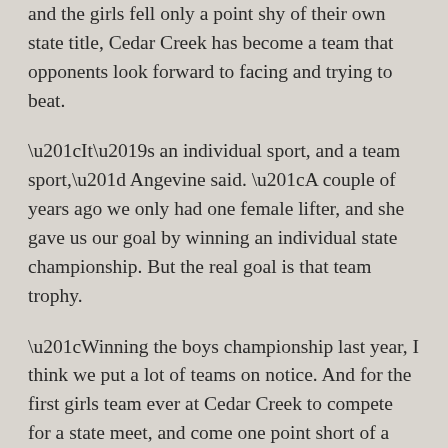and the girls fell only a point shy of their own state title, Cedar Creek has become a team that opponents look forward to facing and trying to beat.
“It’s an individual sport, and a team sport,” Angevine said. “A couple of years ago we only had one female lifter, and she gave us our goal by winning an individual state championship. But the real goal is that team trophy.
“Winning the boys championship last year, I think we put a lot of teams on notice. And for the first girls team ever at Cedar Creek to compete for a state meet, and come one point short of a state championship, I think we woke a lot of teams up and showed them that we’re here to stay for the long run.”
Next up for the Cedar Creek boys team is a trip to West